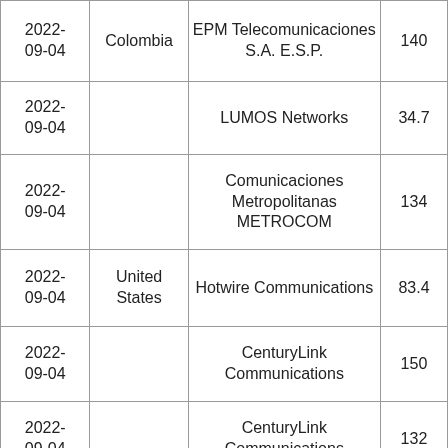| 2022-09-04 | Colombia | EPM Telecomunicaciones S.A. E.S.P. | 140 |
| 2022-09-04 |  | LUMOS Networks | 34.7 |
| 2022-09-04 |  | Comunicaciones Metropolitanas METROCOM | 134 |
| 2022-09-04 | United States | Hotwire Communications | 83.4 |
| 2022-09-04 |  | CenturyLink Communications | 150 |
| 2022-09-04 |  | CenturyLink Communications | 132 |
|  |  |  |  |